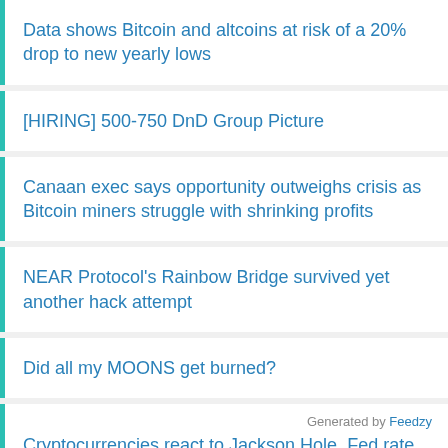Data shows Bitcoin and altcoins at risk of a 20% drop to new yearly lows
[HIRING] 500-750 DnD Group Picture
Canaan exec says opportunity outweighs crisis as Bitcoin miners struggle with shrinking profits
NEAR Protocol's Rainbow Bridge survived yet another hack attempt
Did all my MOONS get burned?
Cryptocurrencies react to Jackson Hole, Fed rate hike
Generated by Feedzy